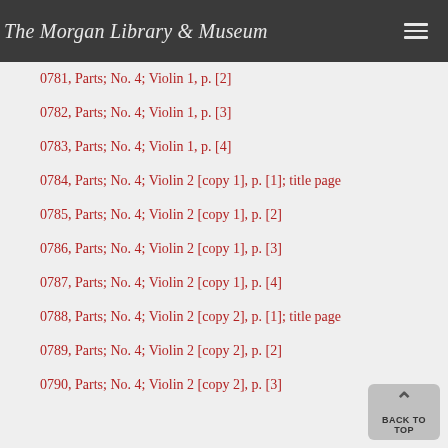The Morgan Library & Museum
0781, Parts; No. 4; Violin 1, p. [2]
0782, Parts; No. 4; Violin 1, p. [3]
0783, Parts; No. 4; Violin 1, p. [4]
0784, Parts; No. 4; Violin 2 [copy 1], p. [1]; title page
0785, Parts; No. 4; Violin 2 [copy 1], p. [2]
0786, Parts; No. 4; Violin 2 [copy 1], p. [3]
0787, Parts; No. 4; Violin 2 [copy 1], p. [4]
0788, Parts; No. 4; Violin 2 [copy 2], p. [1]; title page
0789, Parts; No. 4; Violin 2 [copy 2], p. [2]
0790, Parts; No. 4; Violin 2 [copy 2], p. [3]